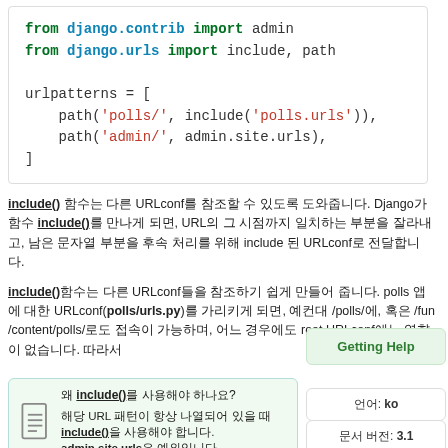[Figure (screenshot): Code block showing Django URL configuration with syntax highlighting. Contains: 'from django.contrib import admin', 'from django.urls import include, path', 'urlpatterns = [', "    path('polls/', include('polls.urls')),", "    path('admin/', admin.site.urls),", ']']
include() 함수는 다른 URLconf를 참조할 수 있도록 도와줍니다. Django가 함수 include()를 만나게 되면, URL의 그 시점까지 일치하는 부분을 잘라내고, 남은 문자열 부분을 후속 처리를 위해 include 된 URLconf로 전달합니다.
include()함수는 다른 URLconf들을 참조하기 쉽게 만들어 줍니다. polls 앱에 대한 URLconf(polls/urls.py)를 가리키게 되면, 예컨대 /polls/에, 혹은 /fun-/content/polls/로도 접속이 가능하며, 어느 경우에도 root URLconf에는 영향이 없습니다. 따라서
[Figure (infographic): Getting Help tooltip/box in green, overlapping the text area on the right side]
[Figure (infographic): Language badge showing '언어: ko']
왜 include()를 사용해야 하나요? 해당 URL 패턴이 항상 나열되어 있을 때 include()을 사용해야 합니다. admin.site.urls은 예외입니다.